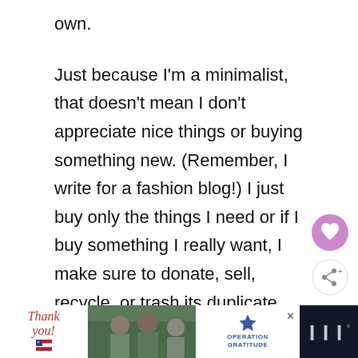own.
Just because I'm a minimalist, that doesn't mean I don't appreciate nice things or buying something new. (Remember, I write for a fashion blog!) I just buy only the things I need or if I buy something I really want, I make sure to donate, sell, recycle, or trash its duplicate when I get home.
[Figure (other): Heart (like) button — circular pink/purple button with white heart icon]
[Figure (other): Share button — circular white button with share icon and plus symbol]
[Figure (other): Advertisement banner at bottom: 'Thank you!' text with American flag star, photo of soldiers, Operation Gratitude logo, close button, and MW logo on dark background]